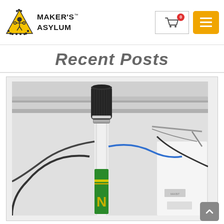[Figure (logo): Maker's Asylum logo: yellow triangle with gear border and robotics figure, with text MAKER'S ASYLUM]
[Figure (other): Shopping cart icon button with red badge showing 0]
[Figure (other): Yellow hamburger menu button]
Recent Posts
[Figure (photo): Close-up photograph of a white tube/pole with black cylindrical top cap, green and yellow branding band reading 'N', blue and black cables/wires, and a white device in the background]